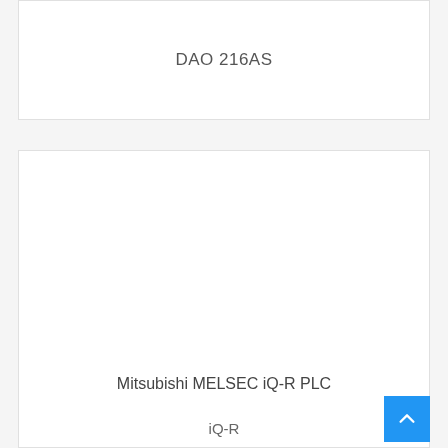DAO 216AS
[Figure (photo): Photo of a Mitsubishi MELSEC iQ-R PLC unit mounted on a plcmarket.com branded background. The PLC has a red power supply module on the left, a CPU module with Ethernet ports, and several expansion modules in a rack.]
Mitsubishi MELSEC iQ-R PLC
iQ-R